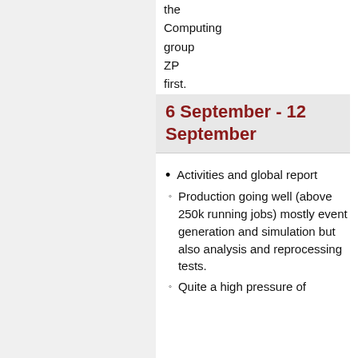the Computing group ZP first.
6 September - 12 September
Activities and global report
Production going well (above 250k running jobs) mostly event generation and simulation but also analysis and reprocessing tests.
Quite a high pressure of